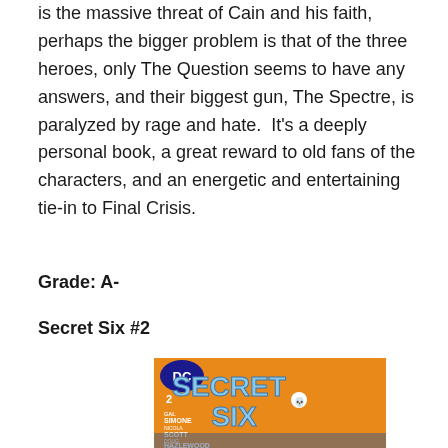is the massive threat of Cain and his faith, perhaps the bigger problem is that of the three heroes, only The Question seems to have any answers, and their biggest gun, The Spectre, is paralyzed by rage and hate.  It's a deeply personal book, a great reward to old fans of the characters, and an energetic and entertaining tie-in to Final Crisis.
Grade: A-
Secret Six #2
[Figure (photo): Comic book cover of Secret Six #2 featuring large blue 3D block letters spelling SECRET SIX with a skull icon, orange background, DC logo, issue number 2, and credits for Gail Simone, Nicola Scott, Doug Hazlewood]